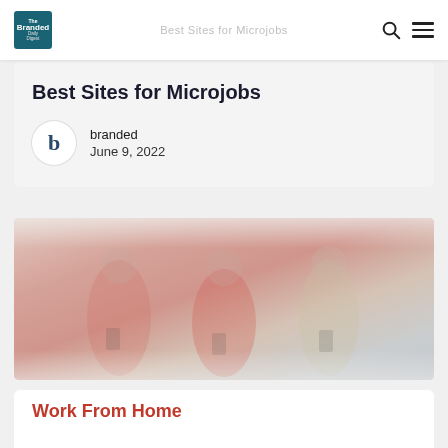The Branded Daily Digest
Best Sites for Microjobs
branded
June 9, 2022
[Figure (photo): Faded photo of young people holding smartphones, wearing casual colorful clothes]
Work From Home